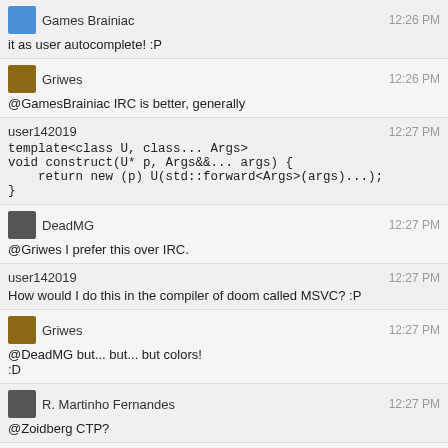Games Brainiac  12:26 PM
it as user autocomplete! :P
Griwes  12:26 PM
@GamesBrainiac IRC is better, generally
user142019  12:27 PM
template<class U, class... Args>
void construct(U* p, Args&&... args) {
    return new (p) U(std::forward<Args>(args)...);
}
DeadMG  12:27 PM
@Griwes I prefer this over IRC.
user142019  12:27 PM
How would I do this in the compiler of doom called MSVC? :P
Griwes  12:27 PM
@DeadMG but... but... but colors!
:D
R. Martinho Fernandes  12:27 PM
@Zoidberg CTP?
DeadMG  12:27 PM
@Zoidberg Just provide 0 and 1 parameters, and then provide more if you happen to need them.
it's bothersome but not crippling.